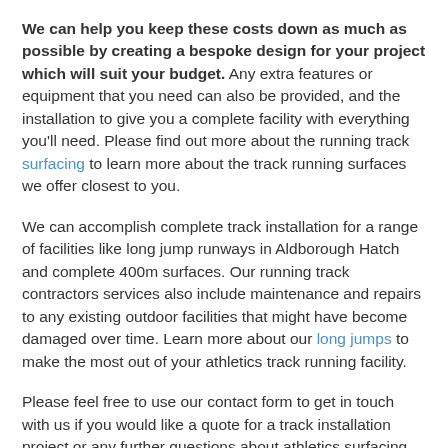We can help you keep these costs down as much as possible by creating a bespoke design for your project which will suit your budget. Any extra features or equipment that you need can also be provided, and the installation to give you a complete facility with everything you'll need. Please find out more about the running track surfacing to learn more about the track running surfaces we offer closest to you.
We can accomplish complete track installation for a range of facilities like long jump runways in Aldborough Hatch and complete 400m surfaces. Our running track contractors services also include maintenance and repairs to any existing outdoor facilities that might have become damaged over time. Learn more about our long jumps to make the most out of your athletics track running facility.
Please feel free to use our contact form to get in touch with us if you would like a quote for a track installation project or any further questions about athletics surfacing and the other sports facilities. One of our team members will be happy to send you more information on all of our sporting facility products and